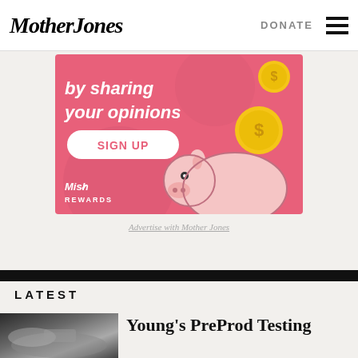Mother Jones | DONATE
[Figure (illustration): Advertisement banner with pink/red background showing piggy bank illustration, gold coins, 'by sharing your opinions' text, SIGN UP button, and Mish Rewards logo]
Advertise with Mother Jones
LATEST
[Figure (photo): Thumbnail photo, dark toned image]
Young's PreProd Testing